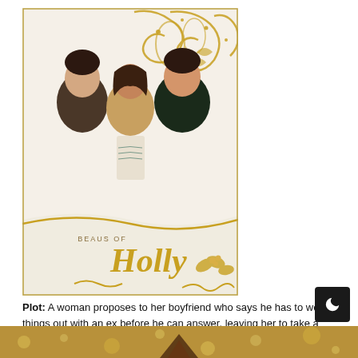[Figure (photo): Movie poster for 'Beaus of Holly' showing three people smiling — two men and a woman in the center — against a decorative gold and cream background with ornamental swirls. The title 'Beaus of Holly' is shown in gold cursive at the bottom of the poster.]
Plot: A woman proposes to her boyfriend who says he has to work things out with an ex before he can answer, leaving her to take a romantic sleigh ride alone with a sympathetic driver.
[Figure (photo): Bottom strip showing partial view of another movie poster with gold bokeh lights background.]